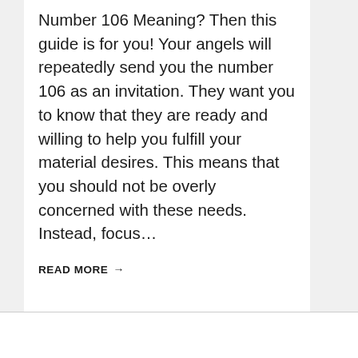Number 106 Meaning? Then this guide is for you! Your angels will repeatedly send you the number 106 as an invitation. They want you to know that they are ready and willing to help you fulfill your material desires. This means that you should not be overly concerned with these needs. Instead, focus…
READ MORE →